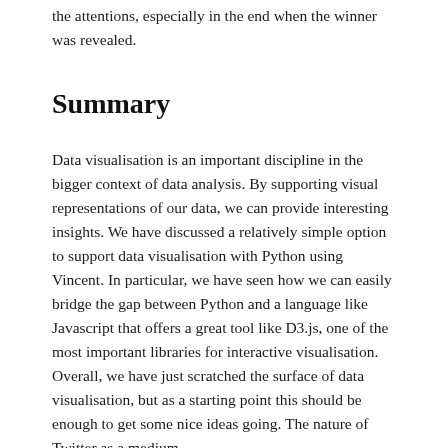the attentions, especially in the end when the winner was revealed.
Summary
Data visualisation is an important discipline in the bigger context of data analysis. By supporting visual representations of our data, we can provide interesting insights. We have discussed a relatively simple option to support data visualisation with Python using Vincent. In particular, we have seen how we can easily bridge the gap between Python and a language like Javascript that offers a great tool like D3.js, one of the most important libraries for interactive visualisation. Overall, we have just scratched the surface of data visualisation, but as a starting point this should be enough to get some nice ideas going. The nature of Twitter as a medium